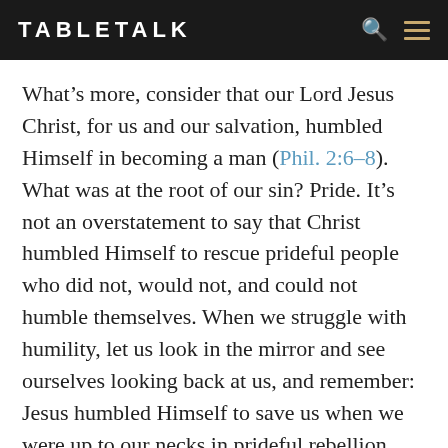TABLETALK
What’s more, consider that our Lord Jesus Christ, for us and our salvation, humbled Himself in becoming a man (Phil. 2:6–8). What was at the root of our sin? Pride. It’s not an overstatement to say that Christ humbled Himself to rescue prideful people who did not, would not, and could not humble themselves. When we struggle with humility, let us look in the mirror and see ourselves looking back at us, and remember: Jesus humbled Himself to save us when we were up to our necks in prideful rebellion. How, then, can we persist in pride?